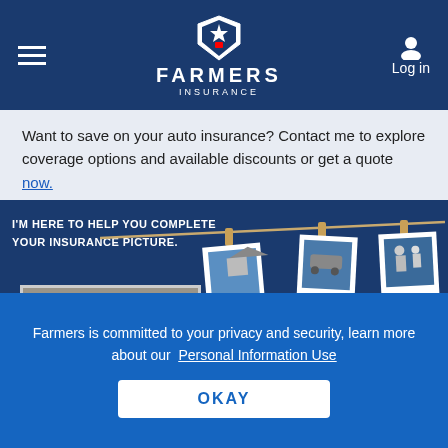[Figure (logo): Farmers Insurance logo with shield icon, hamburger menu and Log in button in navy blue navigation bar]
Want to save on your auto insurance? Contact me to explore coverage options and available discounts or get a quote now.
[Figure (illustration): Farmers Insurance hero banner showing clothesline with polaroid photos of home, auto, and life insurance. Text reads: I'M HERE TO HELP YOU COMPLETE YOUR INSURANCE PICTURE.]
[Figure (photo): Headshot photo of Blake Tacker, a man in a blue shirt and tie]
BLAKE TACKER
Farmers Insurance Agent in North Richland Hills, TX
Farmers is committed to your privacy and security, learn more about our Personal Information Use
OKAY